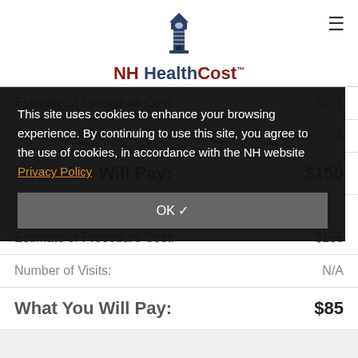NH HealthCost
| Label | Value |
| --- | --- |
| Estimate of Procedure Cost: | $275 |
| Number of Visits: | N/A |
| What You Will Pay: | $150 |
This site uses cookies to enhance your browsing experience. By continuing to use this site, you agree to the use of cookies, in accordance with the NH website Privacy Policy
OK ✓
| Label | Value |
| --- | --- |
| Estimate of Procedure Cost: | $155 |
| Number of Visits: | N/A |
| What You Will Pay: | $85 |